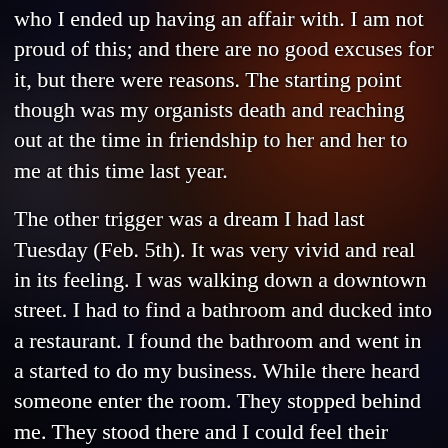who I ended up having an affair with. I am not proud of this; and there are no good excuses for it, but there were reasons. The starting point though was my organists death and reaching out at the time in friendship to her and her to me at this time last year.

The other trigger was a dream I had last Tuesday (Feb. 5th). It was very vivid and real in its feeling. I was walking down a downtown street. I had to find a bathroom and ducked into a restaurant. I found the bathroom and went in a started to do my business. While there heard someone enter the room. They stopped behind me. They stood there and I could feel their presence but they didn't move. It was actually unnerving. I finished and then turned around only to find it was the man